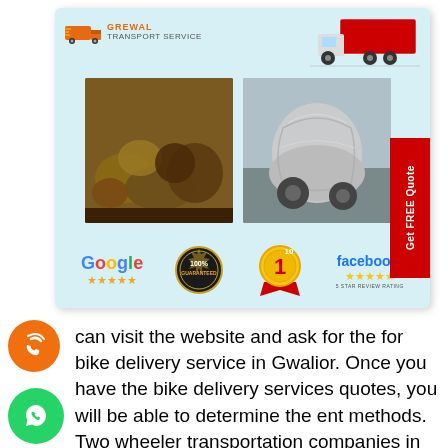[Figure (infographic): Grewal Transport Service advertisement card with logo, two photos of packed goods/bike, Google 5-star rating, 100% guaranteed badge, #1 badge, Facebook 5-star rating, and Get FREE Quote red tab on right side. Background is light blue/teal.]
can visit the website and ask for the for bike delivery service in Gwalior. Once you have the bike delivery services quotes, you will be able to determine the ent methods. Two wheeler transportation companies in Gwalior usually transfer funds in cash or by credit card.